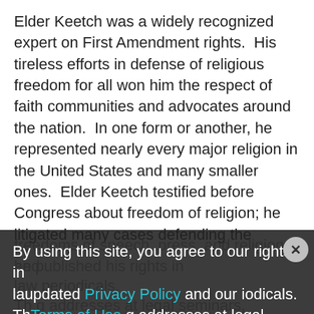Elder Keetch was a widely recognized expert on First Amendment rights.  His tireless efforts in defense of religious freedom for all won him the respect of faith communities and advocates around the nation.  In one form or another, he represented nearly every major religion in the United States and many smaller ones.  Elder Keetch testified before Congress about freedom of religion; he litigated many cases defending the freedoms of speech, press, and religion; and he published his rights in law periodicals. The .g addresses at legal seminars, scholarly and interfaith gatherings,
By using this site, you agree to our updated Privacy Policy and our Terms of Use.